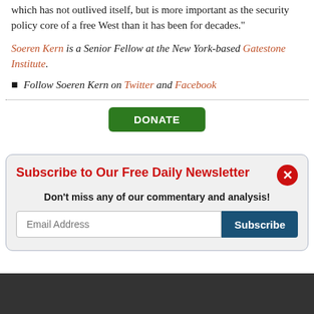which has not outlived itself, but is more important as the security policy core of a free West than it has been for decades."
Soeren Kern is a Senior Fellow at the New York-based Gatestone Institute.
Follow Soeren Kern on Twitter and Facebook
[Figure (other): Green DONATE button]
Subscribe to Our Free Daily Newsletter
Don't miss any of our commentary and analysis!
Not interested